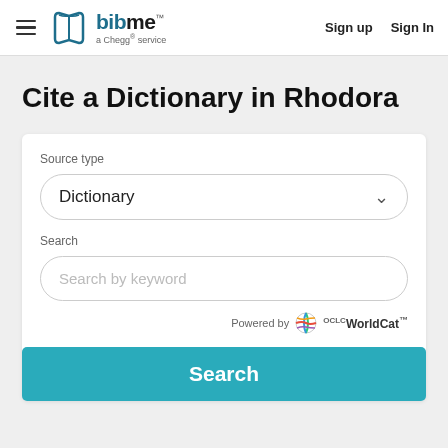BibMe — a Chegg service | Sign up | Sign In
Cite a Dictionary in Rhodora
Source type
Dictionary
Search
Search by keyword
Powered by OCLC WorldCat
Search